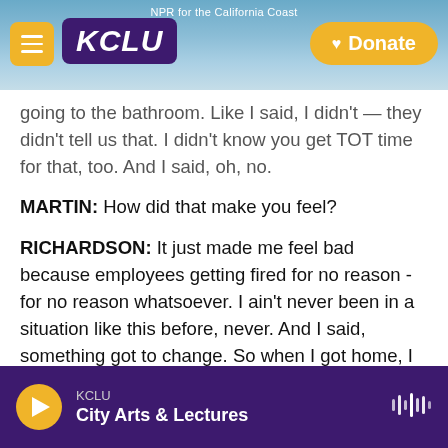[Figure (screenshot): KCLU radio station website header with logo, hamburger menu, coastal background photo, and Donate button. Text reads 'NPR for the California Coast']
going to the bathroom. Like I said, I didn't — they didn't tell us that. I didn't know you get TOT time for that, too. And I said, oh, no.
MARTIN: How did that make you feel?
RICHARDSON: It just made me feel bad because employees getting fired for no reason - for no reason whatsoever. I ain't never been in a situation like this before, never. And I said, something got to change. So when I got home, I Googled, which union represent Amazon? RWDSU came up, and that's how it got to this point now.
KCLU
City Arts & Lectures